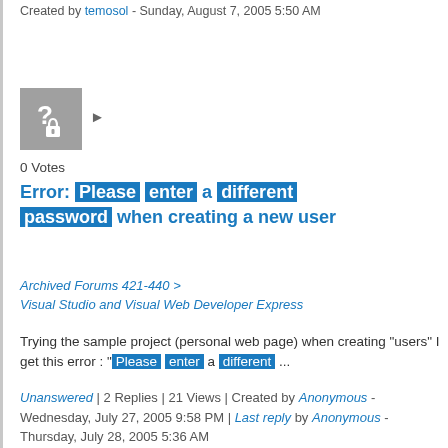Created by temosol - Sunday, August 7, 2005 5:50 AM
[Figure (other): Grey icon box with question mark and lock symbol]
0 Votes
Error: Please enter a different password when creating a new user
Archived Forums 421-440 > Visual Studio and Visual Web Developer Express
Trying the sample project (personal web page) when creating "users" I get this error : " Please enter a different ...
Unanswered | 2 Replies | 21 Views | Created by Anonymous - Wednesday, July 27, 2005 9:58 PM | Last reply by Anonymous - Thursday, July 28, 2005 5:36 AM
[Figure (other): Blue icon box with checkmark and lock symbol]
0 Votes
Slow Screens in @ say gets
Archived Forums 421-440 >